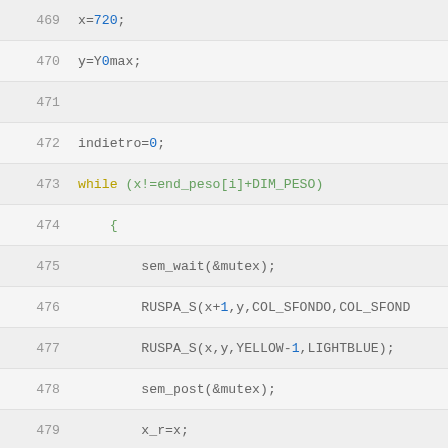469    x=720;
470    y=Y0max;
471
472    indietro=0;
473    while (x!=end_peso[i]+DIM_PESO)
474        {
475            sem_wait(&mutex);
476            RUSPA_S(x+1,y,COL_SFONDO,COL_SFOND
477            RUSPA_S(x,y,YELLOW-1,LIGHTBLUE);
478            sem_post(&mutex);
479            x_r=x;
480            x--;
481            task_endcycle();
482        }
483    sem_wait(&mutex);
484    RUSPA_S(x+1,y,COL_SFONDO,COL_SFONDO);
485    sem_post(&mutex);
486    indietro=1;
487    while (x!=730 )
488        {
489            sem_wait(&mutex);